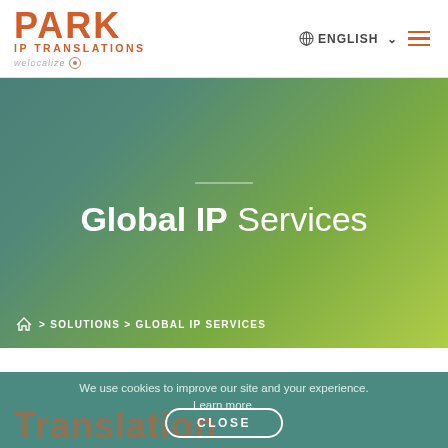[Figure (logo): Park IP Translations logo with welocalize branding]
Global IP Services
🏠 > SOLUTIONS > GLOBAL IP SERVICES
We use cookies to improve our site and your experience. Learn more.
Translation
CLOSE